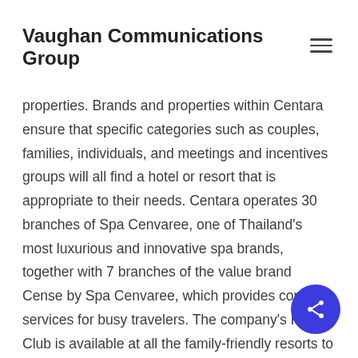Vaughan Communications Group
properties. Brands and properties within Centara ensure that specific categories such as couples, families, individuals, and meetings and incentives groups will all find a hotel or resort that is appropriate to their needs. Centara operates 30 branches of Spa Cenvaree, one of Thailand's most luxurious and innovative spa brands, together with 7 branches of the value brand Cense by Spa Cenvaree, which provides core spa services for busy travelers. The company's Kids' Club is available at all the family-friendly resorts to ensure that the youngsters and teens have their own leisure zone. Centara also operates three state-of-the-art convention centers in